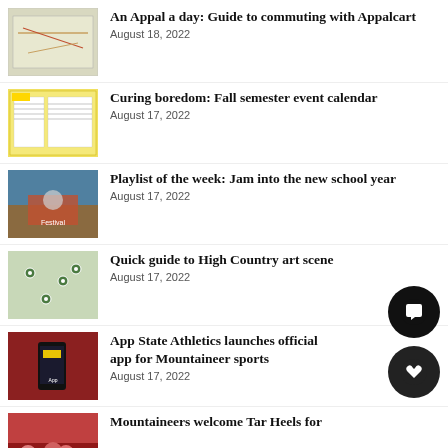[Figure (illustration): Thumbnail image of a transit/bus route map]
An Appal a day: Guide to commuting with Appalcart
August 18, 2022
[Figure (illustration): Thumbnail image of a yellow event calendar document]
Curing boredom: Fall semester event calendar
August 17, 2022
[Figure (photo): Thumbnail photo of a colorful outdoor music/arts festival scene]
Playlist of the week: Jam into the new school year
August 17, 2022
[Figure (map): Thumbnail of a map with location pins for High Country art scene]
Quick guide to High Country art scene
August 17, 2022
[Figure (photo): Thumbnail photo of hand holding phone with App State Athletics app, brick building in background]
App State Athletics launches official app for Mountaineer sports
August 17, 2022
[Figure (photo): Thumbnail photo of crowd/group of people]
Mountaineers welcome Tar Heels for